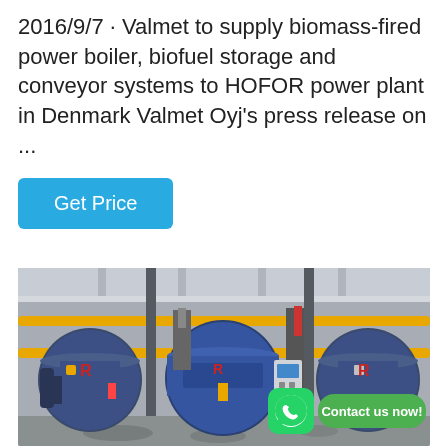2016/9/7 · Valmet to supply biomass-fired power boiler, biofuel storage and conveyor systems to HOFOR power plant in Denmark Valmet Oyj's press release on ...
[Figure (other): Blue button labeled 'Get Price' on a cyan/blue background]
[Figure (photo): Industrial boiler room interior showing three large dark blue cylindrical boilers with yellow pipes running along the ceiling, red tanks, and various industrial equipment. A WhatsApp icon and 'Contact us now!' green button overlay are visible at the bottom right.]